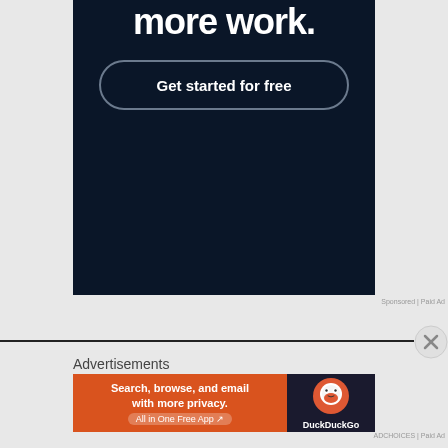[Figure (screenshot): Advertisement banner with dark navy background showing partial bold white text at top and a 'Get started for free' button with rounded border]
Sponsored | Paid Ad
Advertisements
[Figure (screenshot): DuckDuckGo advertisement: orange left panel with text 'Search, browse, and email with more privacy. All in One Free App' and dark right panel with DuckDuckGo duck logo and brand name]